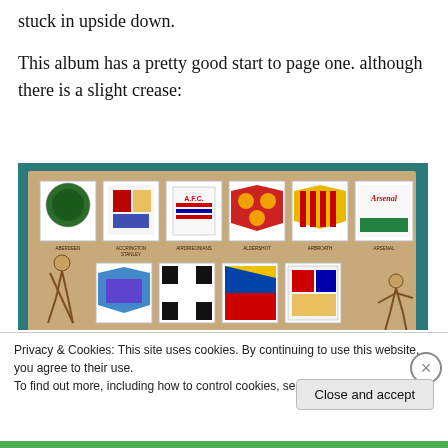stuck in upside down.
This album has a pretty good start to page one. although there is a slight crease:
[Figure (photo): Photograph of an open football sticker album showing two rows of colorful team crest stickers on a beige background. Top row shows: Aberdeen, Accrington Stanley, Airdrieonians, Aldershot, Arbroath, Arsenal. Bottom row shows: Aston Villa, Barnsley, Barrow, Birmingham City. Illustrated football players are visible on the left and right sides of the bottom row. Partially visible third row at the bottom.]
Privacy & Cookies: This site uses cookies. By continuing to use this website, you agree to their use.
To find out more, including how to control cookies, see here: Cookie Policy
Close and accept